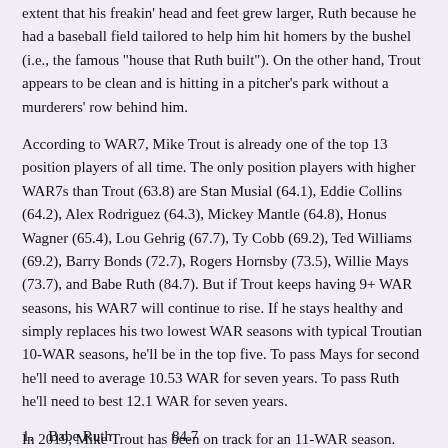extent that his freakin' head and feet grew larger, Ruth because he had a baseball field tailored to help him hit homers by the bushel (i.e., the famous "house that Ruth built"). On the other hand, Trout appears to be clean and is hitting in a pitcher's park without a murderers' row behind him.
According to WAR7, Mike Trout is already one of the top 13 position players of all time. The only position players with higher WAR7s than Trout (63.8) are Stan Musial (64.1), Eddie Collins (64.2), Alex Rodriguez (64.3), Mickey Mantle (64.8), Honus Wagner (65.4), Lou Gehrig (67.7), Ty Cobb (69.2), Ted Williams (69.2), Barry Bonds (72.7), Rogers Hornsby (73.5), Willie Mays (73.7), and Babe Ruth (84.7). But if Trout keeps having 9+ WAR seasons, his WAR7 will continue to rise. If he stays healthy and simply replaces his two lowest WAR seasons with typical Troutian 10-WAR seasons, he'll be in the top five. To pass Mays for second he'll need to average 10.53 WAR for seven years. To pass Ruth he'll need to best 12.1 WAR for seven years.
In 2019, Mike Trout has been on track for an 11-WAR season. Here's how he will climb in the all-time WAR7 rankings if he averages that level during his prime years, through 2022 ...
| Player | WAR7 |
| --- | --- |